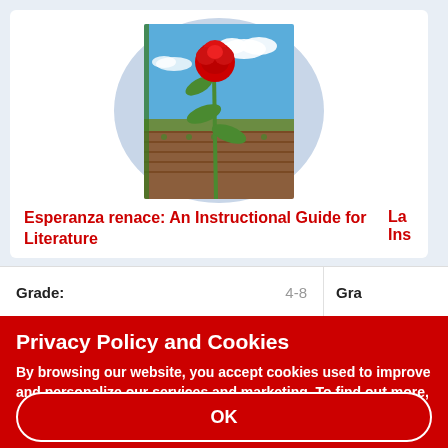[Figure (illustration): Book cover for 'Esperanza Rising' showing a red rose growing from farmland with blue sky and clouds, set against a circular blue-grey background]
Esperanza renace: An Instructional Guide for Literature
| Grade: | 4-8 | Gra |
| --- | --- | --- |
Privacy Policy and Cookies
By browsing our website, you accept cookies used to improve and personalize our services and marketing. To find out more, read our Privacy Policy page.
OK